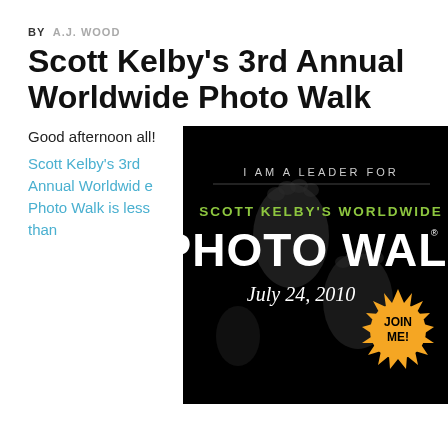BY  A.J. WOOD
Scott Kelby's 3rd Annual Worldwide Photo Walk
Good afternoon all!
Scott Kelby's 3rd Annual Worldwide Photo Walk is less than
[Figure (illustration): Black promotional banner: 'I AM A LEADER FOR SCOTT KELBY'S WORLDWIDE PHOTO WALK July 24, 2010' with a gold starburst badge saying 'JOIN ME!' and faint footprint graphics in the background.]